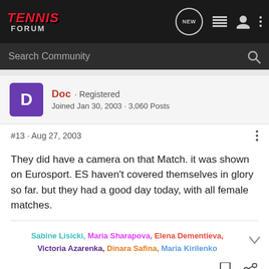[Figure (screenshot): Tennis Forum navigation bar with logo, NEW button, list icon, user icon, and three-dot menu on dark background]
[Figure (screenshot): Search Community search bar on dark background]
Doc · Registered
Joined Jan 30, 2003 · 3,060 Posts
#13 · Aug 27, 2003
They did have a camera on that Match. it was shown on Eurosport. ES haven't covered themselves in glory so far. but they had a good day today, with all female matches.
Sabine Lisicki, Maria Sharapova, Elena Dementieva, Victoria Azarenka, Dinara Safina, Maria Kirilenko